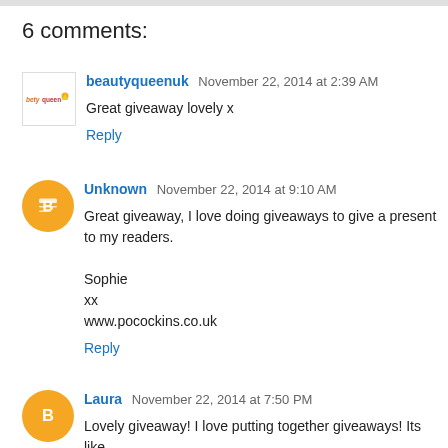6 comments:
beautyqueenuk November 22, 2014 at 2:39 AM
Great giveaway lovely x
Reply
Unknown November 22, 2014 at 9:10 AM
Great giveaway, I love doing giveaways to give a present to my readers.

Sophie
xx
www.pocockins.co.uk
Reply
Laura November 22, 2014 at 7:50 PM
Lovely giveaway! I love putting together giveaways! Its like...